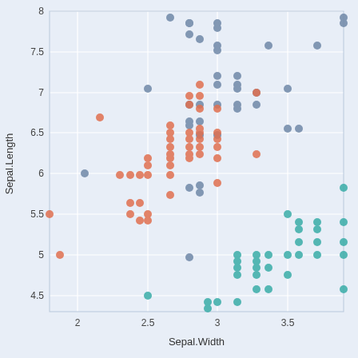[Figure (continuous-plot): Scatter plot of Sepal.Length (y-axis, range ~4.3 to 8.0) vs Sepal.Width (x-axis, range ~1.8 to 3.9) for the Iris dataset. Three species shown: blue/slate (virginica), orange/coral (versicolor), teal/green (setosa). Background is light blue-grey with white gridlines.]